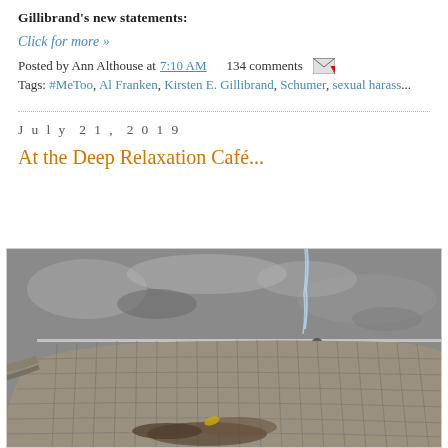Gillibrand's new statements:
Click for more »
Posted by Ann Althouse at 7:10 AM   134 comments
Tags: #MeToo, Al Franken, Kirsten E. Gillibrand, Schumer, sexual harass...
July 21, 2019
At the Deep Relaxation Café...
[Figure (photo): Close-up photo of a weathered wicker or rattan outdoor chair/furniture piece, with debris and leaves accumulated inside the basket weave. Background shows a paved surface with dappled sunlight and shadows. A thin vertical water stream or spray is visible in the upper portion of the image.]